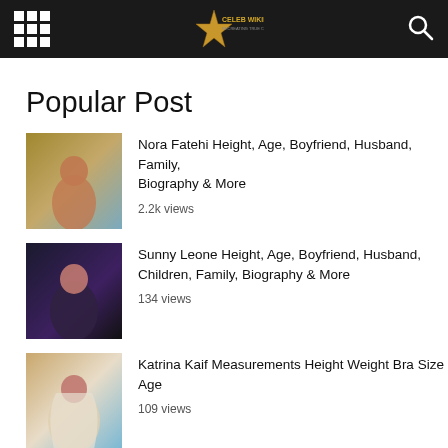Celeb Wikipedia
Popular Post
[Figure (photo): Thumbnail photo of Nora Fatehi in bikini at beach]
Nora Fatehi Height, Age, Boyfriend, Husband, Family, Biography & More
2.2k views
[Figure (photo): Thumbnail photo of Sunny Leone in black outfit]
Sunny Leone Height, Age, Boyfriend, Husband, Children, Family, Biography & More
134 views
[Figure (photo): Thumbnail photo of Katrina Kaif in white saree]
Katrina Kaif Measurements Height Weight Bra Size Age
109 views